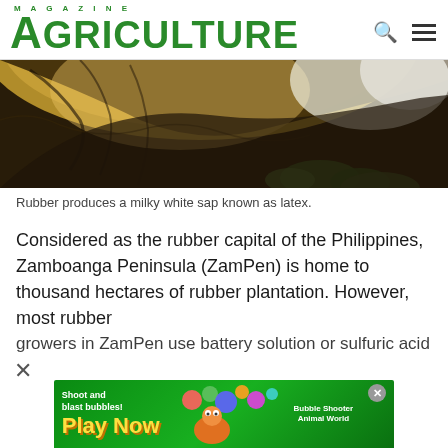MAGAZINE AGRICULTURE
[Figure (photo): Close-up photo of a rubber tree cross-section showing dark soil and bark with tan/yellow interior, green leaves visible at bottom]
Rubber produces a milky white sap known as latex.
Considered as the rubber capital of the Philippines, Zamboanga Peninsula (ZamPen) is home to thousand hectares of rubber plantation. However, most rubber growers in ZamPen use battery solution or sulfuric acid in...
[Figure (screenshot): Advertisement banner: Bubble Shooter Animal World game ad with 'Shoot and blast bubbles!' text, Play Now button in yellow, colorful bubbles and animal characters]